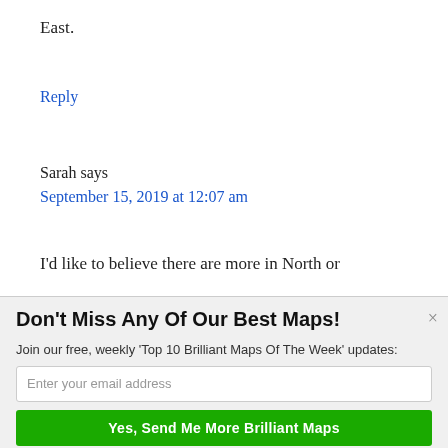East.
Reply
Sarah says
September 15, 2019 at 12:07 am
I'd like to believe there are more in North or
Don't Miss Any Of Our Best Maps!
Join our free, weekly 'Top 10 Brilliant Maps Of The Week' updates:
Enter your email address
Yes, Send Me More Brilliant Maps